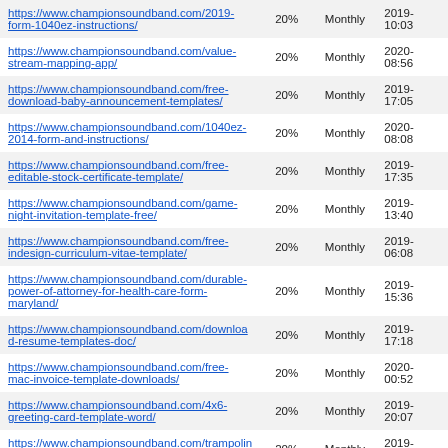| URL | Priority | Change Frequency | Last Modified |
| --- | --- | --- | --- |
| https://www.championsoundband.com/2019-form-1040ez-instructions/ | 20% | Monthly | 2019-... 10:03 |
| https://www.championsoundband.com/value-stream-mapping-app/ | 20% | Monthly | 2020-... 08:56 |
| https://www.championsoundband.com/free-download-baby-announcement-templates/ | 20% | Monthly | 2019-... 17:05 |
| https://www.championsoundband.com/1040ez-2014-form-and-instructions/ | 20% | Monthly | 2020-... 08:08 |
| https://www.championsoundband.com/free-editable-stock-certificate-template/ | 20% | Monthly | 2019-... 17:35 |
| https://www.championsoundband.com/game-night-invitation-template-free/ | 20% | Monthly | 2019-... 13:40 |
| https://www.championsoundband.com/free-indesign-curriculum-vitae-template/ | 20% | Monthly | 2019-... 06:08 |
| https://www.championsoundband.com/durable-power-of-attorney-for-health-care-form-maryland/ | 20% | Monthly | 2019-... 15:36 |
| https://www.championsoundband.com/download-resume-templates-doc/ | 20% | Monthly | 2019-... 17:18 |
| https://www.championsoundband.com/free-mac-invoice-template-downloads/ | 20% | Monthly | 2020-... 00:52 |
| https://www.championsoundband.com/4x6-greeting-card-template-word/ | 20% | Monthly | 2019-... 20:07 |
| https://www.championsoundband.com/trampoline-waiver-form-canada/ | 20% | Monthly | 2019-... 11:03 |
| https://www.championsoundband.com/how-to-make-fake-w2-forms/ | 20% | Monthly | 2019-... 17:26 |